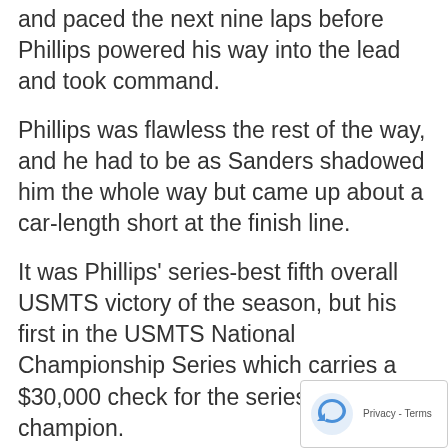and paced the next nine laps before Phillips powered his way into the lead and took command.
Phillips was flawless the rest of the way, and he had to be as Sanders shadowed him the whole way but came up about a car-length short at the finish line.
It was Phillips' series-best fifth overall USMTS victory of the season, but his first in the USMTS National Championship Series which carries a $30,000 check for the series points champion.
Friday's win was worth $4,000 to the second-generation ace from Springfield, Mo.
King of America Modified Nationals winner and runaway Rookie of the Year points leader Stormy Scott came from the eighth starting spot to fin third while points leader and defending USMTS National Champion Ryan Gustin finished fourth by